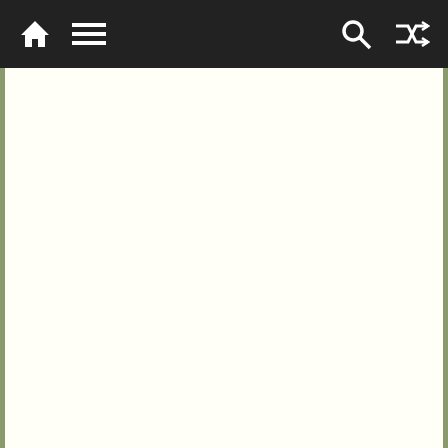Navigation bar with home, menu, search, and shuffle icons
Leave a Reply
Your email address will not be published. Required fields are marked *
[Figure (screenshot): Dropdown overlay with chevron/check icon]
[Figure (infographic): Advertisement: HC logo, text 'View store hours, get directions, or call your salon!' with blue arrow direction sign]